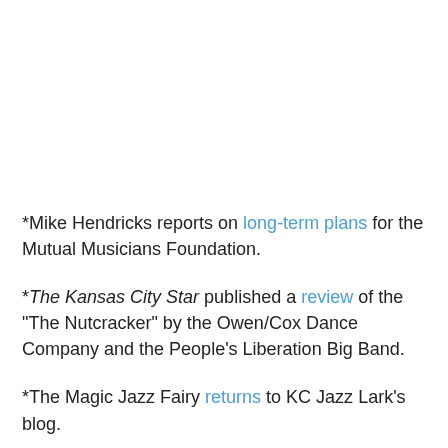*Mike Hendricks reports on long-term plans for the Mutual Musicians Foundation.
*The Kansas City Star published a review of the "The Nutcracker" by the Owen/Cox Dance Company and the People's Liberation Big Band.
*The Magic Jazz Fairy returns to KC Jazz Lark's blog.
*Here's the latest episode of "Blues In the News" from 12th Street Jump.